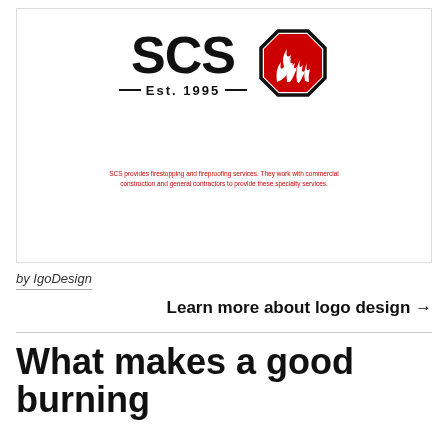[Figure (logo): SCS logo with bold black letters 'SCS', Est. 1995 tagline, and a red octagon-shaped fire emblem on the right. Below the logo is a small red text description about SCS providing firestopping and fireproofing services.]
by IgoDesign
Learn more about logo design →
What makes a good burning